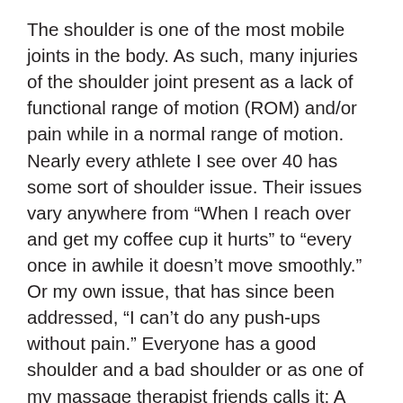The shoulder is one of the most mobile joints in the body. As such, many injuries of the shoulder joint present as a lack of functional range of motion (ROM) and/or pain while in a normal range of motion. Nearly every athlete I see over 40 has some sort of shoulder issue. Their issues vary anywhere from “When I reach over and get my coffee cup it hurts” to “every once in awhile it doesn’t move smoothly.” Or my own issue, that has since been addressed, “I can’t do any push-ups without pain.” Everyone has a good shoulder and a bad shoulder or as one of my massage therapist friends calls it: A “Dark side.”
In a fitness context, lack of shoulder function significantly reduces both the number of exercises athletes can train and, most importantly, the athlete’s consistency. If lack of shoulder function is problematic